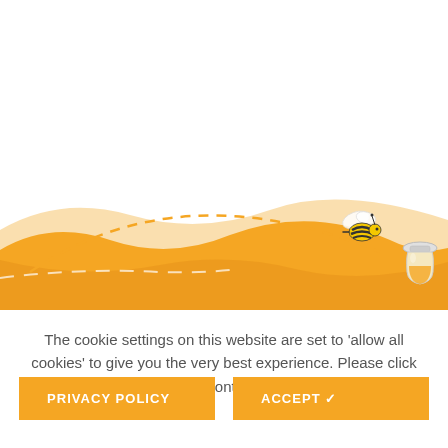[Figure (illustration): Decorative illustration with honey-themed landscape: orange/yellow wavy rolling hills at the bottom third, a dashed curved path arcing through the scene, a cartoon bee flying near the right side, and a honey jar on the far right. White background above.]
The cookie settings on this website are set to 'allow all cookies' to give you the very best experience. Please click Accept Cookies to continue to use the site.
PRIVACY POLICY
ACCEPT ✓